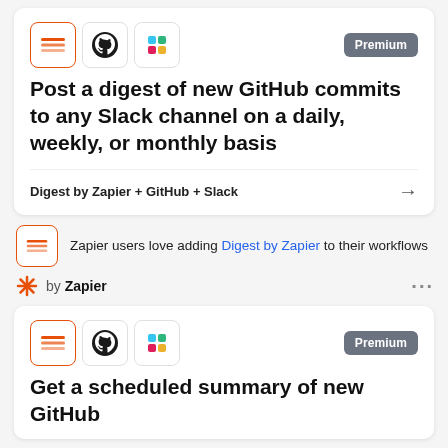[Figure (screenshot): Card showing Digest by Zapier, GitHub, and Slack icons with Premium badge]
Post a digest of new GitHub commits to any Slack channel on a daily, weekly, or monthly basis
Digest by Zapier + GitHub + Slack →
Zapier users love adding Digest by Zapier to their workflows
by Zapier ···
[Figure (screenshot): Card showing Digest by Zapier, GitHub, and Slack icons with Premium badge]
Get a scheduled summary of new GitHub